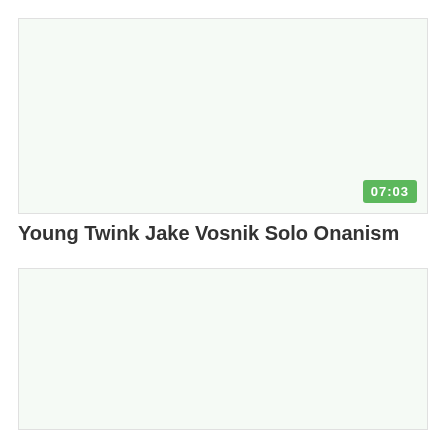[Figure (screenshot): Video thumbnail placeholder, light greenish-white background with a green duration badge showing 07:03 in the bottom right corner]
Young Twink Jake Vosnik Solo Onanism
[Figure (screenshot): Second video thumbnail placeholder, light greenish-white background, no badge visible]